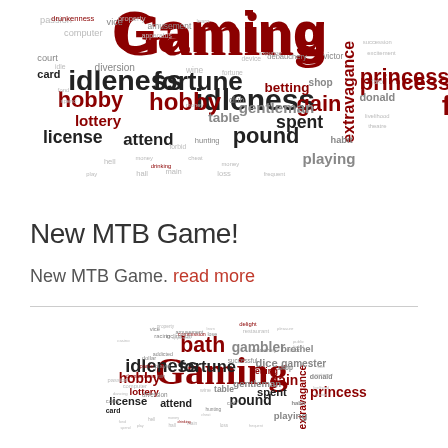[Figure (infographic): Word cloud with gaming-related terms. Large words include 'Gaming', 'princess', 'idleness', 'fortune', 'hobby', 'gain', 'extravagance'. Medium words include 'lottery', 'diversion', 'license', 'attend', 'vice', 'gentleman', 'betting', 'spent', 'pound', 'playing', 'bath', 'gambler', 'brothel', 'gamester'. Smaller words include many gaming and lifestyle related terms in dark red, dark gray, and light gray colors.]
New MTB Game!
New MTB Game. read more
[Figure (infographic): Second word cloud identical to the top one with gaming-related terms. Large words include 'Gaming', 'princess', 'idleness', 'fortune', 'hobby', 'gain', 'extravagance'. Medium words include 'lottery', 'diversion', 'license', 'attend', 'vice', 'gentleman', 'betting', 'spent', 'pound', 'playing', 'bath', 'gambler', 'brothel', 'gamester'. Smaller words include many gaming and lifestyle related terms in dark red, dark gray, and light gray colors.]